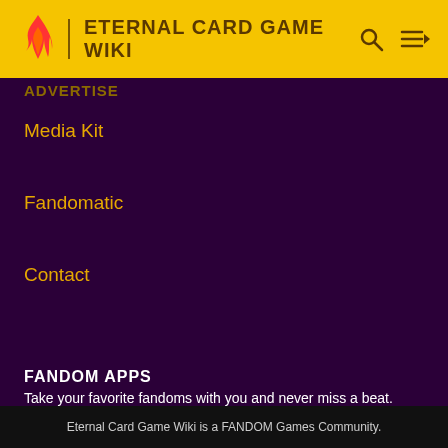ETERNAL CARD GAME WIKI
ADVERTISE
Media Kit
Fandomatic
Contact
FANDOM APPS
Take your favorite fandoms with you and never miss a beat.
[Figure (logo): Fandom app icon with pink flame and yellow heart on beige background]
[Figure (logo): Download on the App Store button]
[Figure (logo): Get it on Google Play button]
Eternal Card Game Wiki is a FANDOM Games Community.